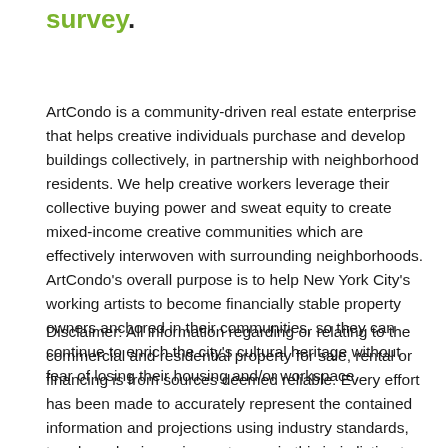survey.
ArtCondo is a community-driven real estate enterprise that helps creative individuals purchase and develop buildings collectively, in partnership with neighborhood residents. We help creative workers leverage their collective buying power and sweat equity to create mixed-income creative communities which are effectively interwoven with surrounding neighborhoods. ArtCondo's overall purpose is to help New York City's working artists to become financially stable property owners anchored in their communities, so they can continue to enrich the city's cultural heritage without fear of losing their housing and/or workspace.
Disclaimer: All information regarding or relating to the commercial and residential property for sale, rental or financing is from sources deemed reliable. Every effort has been made to accurately represent the contained information and projections using industry standards, trends and unique circumstances in this jurisdiction to get tight, accurate and